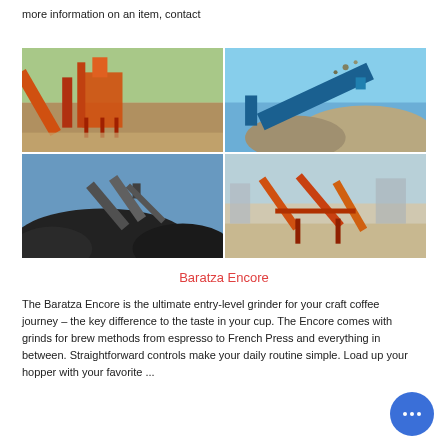more information on an item, contact
[Figure (photo): Four-image grid showing industrial mining and crushing equipment: top-left shows orange-colored crushing/conveyor plant, top-right shows a blue mobile screening/conveyor machine on a rock pile, bottom-left shows conveyor systems over black material stockpile, bottom-right shows orange conveyor and screening equipment at a quarry site.]
Baratza Encore
The Baratza Encore is the ultimate entry-level grinder for your craft coffee journey – the key difference to the taste in your cup. The Encore comes with grinds for brew methods from espresso to French Press and everything in between. Straightforward controls make your daily routine simple. Load up your hopper with your favorite ...